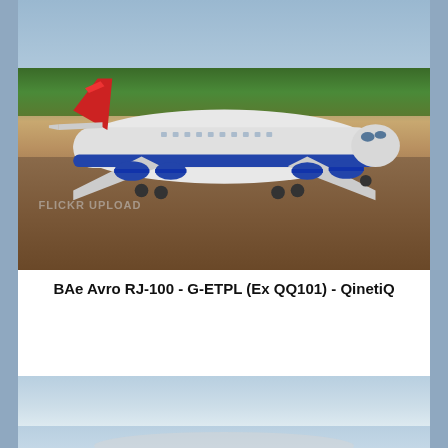[Figure (photo): BAe Avro RJ-100 aircraft with registration G-ETPL in QinetiQ livery (white fuselage with red tail) taxiing on a runway apron, with trees and blue sky in the background.]
BAe Avro RJ-100 - G-ETPL (Ex QQ101) - QinetiQ
[Figure (photo): Partial view of an aircraft in flight against a pale blue sky with clouds visible at the bottom of the frame.]